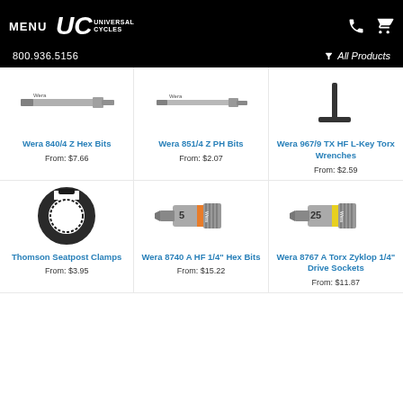MENU UC UNIVERSAL CYCLES 800.936.5156 All Products
[Figure (photo): Wera 840/4 Z Hex Bits - tool bit photo]
Wera 840/4 Z Hex Bits
From: $7.66
[Figure (photo): Wera 851/4 Z PH Bits - tool bit photo]
Wera 851/4 Z PH Bits
From: $2.07
[Figure (photo): Wera 967/9 TX HF L-Key Torx Wrenches - tool photo]
Wera 967/9 TX HF L-Key Torx Wrenches
From: $2.59
[Figure (photo): Thomson Seatpost Clamps - black ring clamp photo]
Thomson Seatpost Clamps
From: $3.95
[Figure (photo): Wera 8740 A HF 1/4" Hex Bits - socket bit with orange band photo]
Wera 8740 A HF 1/4" Hex Bits
From: $15.22
[Figure (photo): Wera 8767 A Torx Zyklop 1/4" Drive Sockets - socket bit with yellow band photo]
Wera 8767 A Torx Zyklop 1/4" Drive Sockets
From: $11.87